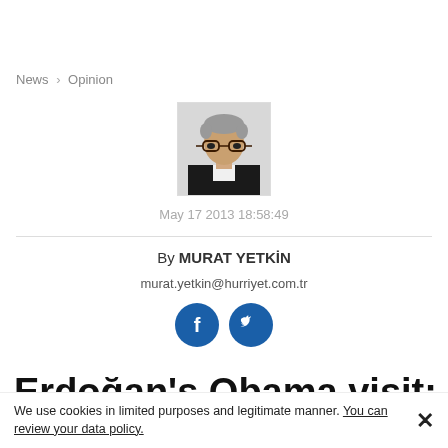News > Opinion
[Figure (photo): Author headshot of Murat Yetkin, a middle-aged man with gray hair and dark-rimmed glasses, wearing a dark suit]
May 17 2013 18:58:49
By MURAT YETKİN
murat.yetkin@hurriyet.com.tr
[Figure (logo): Facebook and Twitter social share icon buttons (dark blue circles)]
Erdoğan's Obama visit: a give
We use cookies in limited purposes and legitimate manner. You can review your data policy.